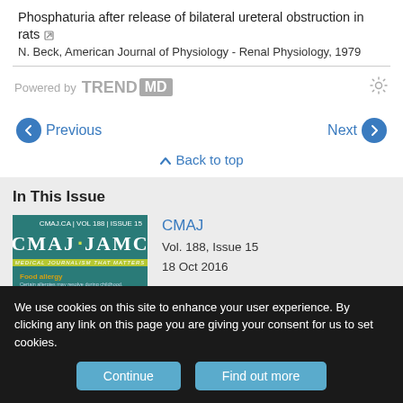Phosphaturia after release of bilateral ureteral obstruction in rats
N. Beck, American Journal of Physiology - Renal Physiology, 1979
[Figure (logo): Powered by TRENDMD logo with gear icon]
Previous
Next
Back to top
In This Issue
[Figure (photo): CMAJ JAMC journal cover for Vol. 188, Issue 15, 18 Oct 2016, featuring Food allergy article]
CMAJ
Vol. 188, Issue 15
18 Oct 2016
Table of Contents
Index by author
We use cookies on this site to enhance your user experience. By clicking any link on this page you are giving your consent for us to set cookies.